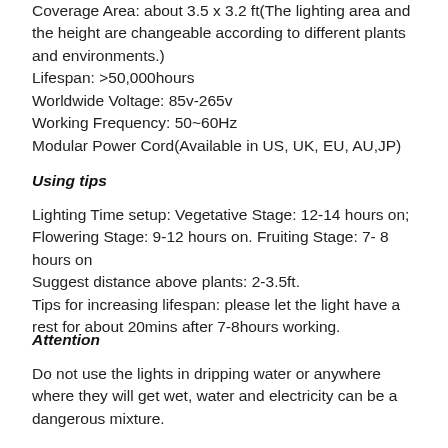Coverage Area: about 3.5x 3.2 ft(The lighting area and the height are changeable according to different plants and environments.)
Lifespan: >50,000hours
Worldwide Voltage: 85v-265v
Working Frequency: 50~60Hz
Modular Power Cord(Available in US, UK, EU, AU,JP)
Using tips
Lighting Time setup: Vegetative Stage: 12-14 hours on; Flowering Stage: 9-12 hours on. Fruiting Stage: 7- 8 hours on
Suggest distance above plants: 2-3.5ft.
Tips for increasing lifespan: please let the light have a rest for about 20mins after 7-8hours working.
Attention
Do not use the lights in dripping water or anywhere where they will get wet, water and electricity can be a dangerous mixture.